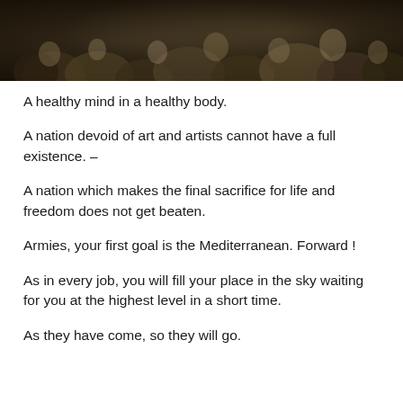[Figure (photo): Sepia-toned photograph banner showing a crowd of people, dark and grainy, used as decorative header image]
A healthy mind in a healthy body.
A nation devoid of art and artists cannot have a full existence. –
A nation which makes the final sacrifice for life and freedom does not get beaten.
Armies, your first goal is the Mediterranean. Forward !
As in every job, you will fill your place in the sky waiting for you at the highest level in a short time.
As they have come, so they will go.